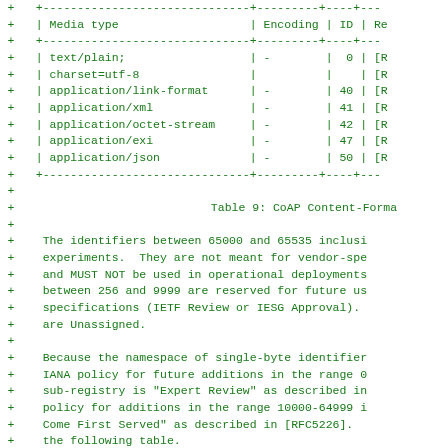| Media type | Encoding | ID | Re |
| --- | --- | --- | --- |
| text/plain; | - | 0 | [R |
| charset=utf-8 |  |  | [R |
| application/link-format | - | 40 | [R |
| application/xml | - | 41 | [R |
| application/octet-stream | - | 42 | [R |
| application/exi | - | 47 | [R |
| application/json | - | 50 | [R |
Table 9: CoAP Content-Forma
The identifiers between 65000 and 65535 inclusi experiments.  They are not meant for vendor-spe and MUST NOT be used in operational deployments between 256 and 9999 are reserved for future us specifications (IETF Review or IESG Approval). are Unassigned.
Because the namespace of single-byte identifier IANA policy for future additions in the range 0 sub-registry is "Expert Review" as described in policy for additions in the range 10000-64999 i Come First Served" as described in [RFC5226]. the following table.